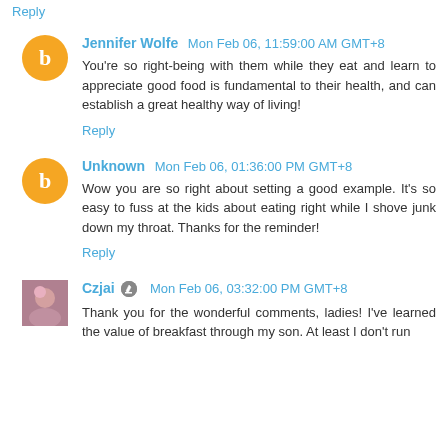Reply
Jennifer Wolfe  Mon Feb 06, 11:59:00 AM GMT+8
You're so right-being with them while they eat and learn to appreciate good food is fundamental to their health, and can establish a great healthy way of living!
Reply
Unknown  Mon Feb 06, 01:36:00 PM GMT+8
Wow you are so right about setting a good example. It's so easy to fuss at the kids about eating right while I shove junk down my throat. Thanks for the reminder!
Reply
Czjai  Mon Feb 06, 03:32:00 PM GMT+8
Thank you for the wonderful comments, ladies! I've learned the value of breakfast through my son. At least I don't run